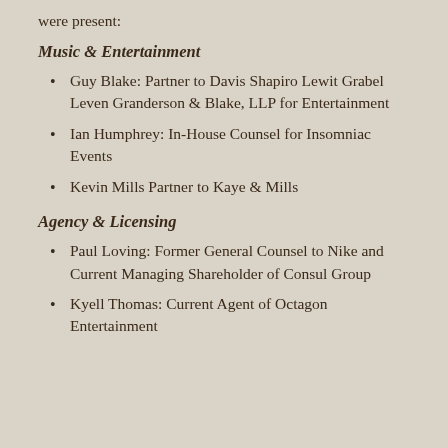were present:
Music & Entertainment
Guy Blake: Partner to Davis Shapiro Lewit Grabel Leven Granderson & Blake, LLP for Entertainment
Ian Humphrey: In-House Counsel for Insomniac Events
Kevin Mills Partner to Kaye & Mills
Agency & Licensing
Paul Loving: Former General Counsel to Nike and Current Managing Shareholder of Consul Group
Kyell Thomas: Current Agent of Octagon Entertainment